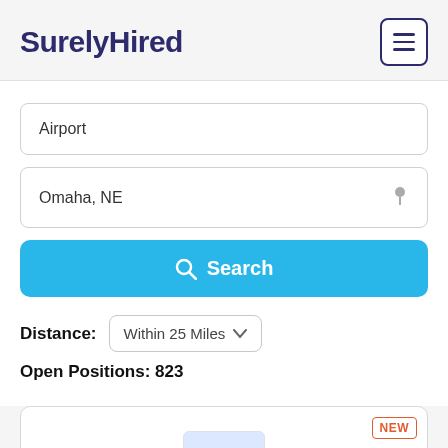SurelyHired
Airport
Omaha, NE
Search
Distance: Within 25 Miles
Open Positions: 823
NEW